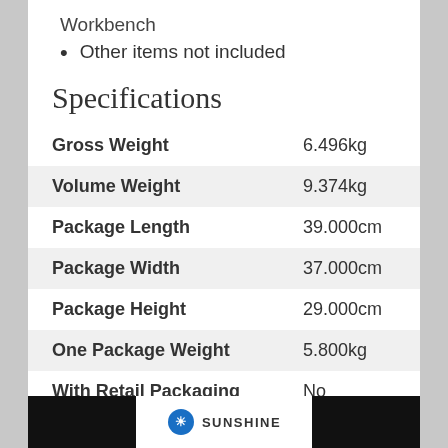Workbench
Other items not included
Specifications
|  |  |
| --- | --- |
| Gross Weight | 6.496kg |
| Volume Weight | 9.374kg |
| Package Length | 39.000cm |
| Package Width | 37.000cm |
| Package Height | 29.000cm |
| One Package Weight | 5.800kg |
| With Retail Packaging | No |
[Figure (logo): Sunshine brand logo with black side panels and circular blue logo icon with text SUNSHINE]